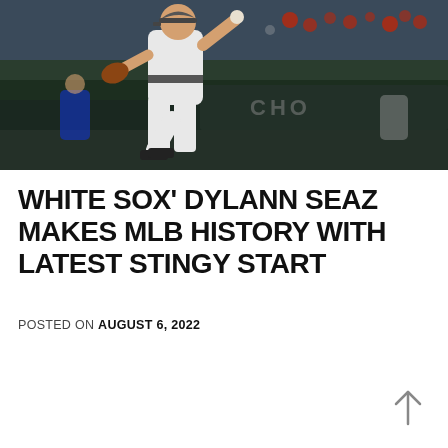[Figure (photo): A baseball pitcher in a white uniform mid-windup on a baseball field, with dugout and crowd visible in the background.]
WHITE SOX' DYLANN SEAZ MAKES MLB HISTORY WITH LATEST STINGY START
POSTED ON AUGUST 6, 2022